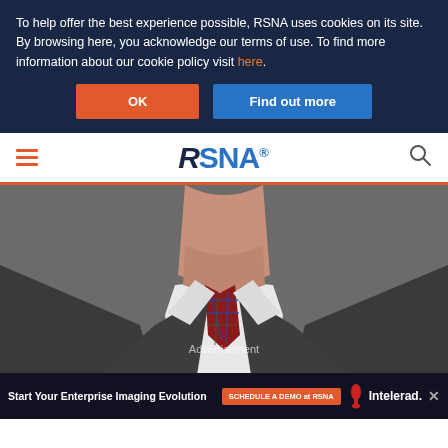To help offer the best experience possible, RSNA uses cookies on its site. By browsing here, you acknowledge our terms of use. To find more information about our cookie policy visit here.
[Figure (screenshot): OK and Find out more buttons for cookie consent]
[Figure (logo): RSNA logo navigation bar with hamburger menu and search icon]
[Figure (photo): Close-up photo of a man in a dark suit with white shirt and plaid tie, cropped at the neck/chest area showing no face]
Advertisement
Start Your Enterprise Imaging Evolution SCHEDULE A DEMO at RSNA Intelerad.